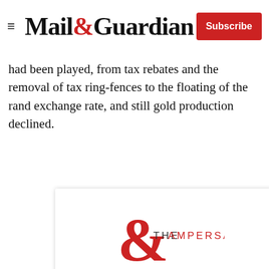Mail&Guardian | Subscribe
had been played, from tax rebates and the removal of tax ring-fences to the floating of the rand exchange rate, and still gold production declined.
[Figure (logo): The Ampersand newsletter signup modal from Mail & Guardian. Contains a large red ampersand logo with 'THE AMPERSAND' text, a tagline 'Stay informed. Every weekday.', an email address input field, and a red 'Signup now' button. A close (X) button appears at top right.]